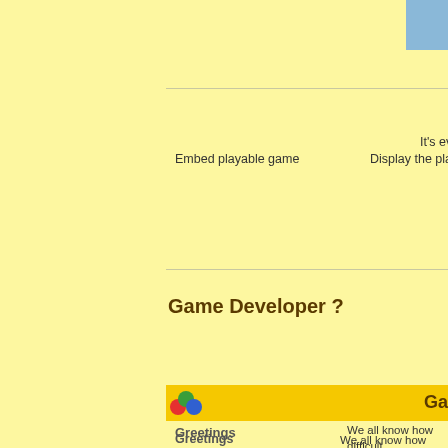[Figure (screenshot): Partial screenshot of a game portal website (playZgame.com) showing a Game Developer page. Left side is a yellow sidebar. Right portion shows cropped content including navigation items, a 'Game Developer?' section header, a yellow banner with colored balls icon, and text sections for Greetings and Submit Your Games.]
Embed playable game
It's ev...
Display the playa...
Game Developer ?
Ga...
Greetings
We all know how difficult... level! Generally games a... which are so difficult to m...
This is why we want to en...
Millions of players! playZ... millions!
So, if you are owner of f... assets on playZgame.co... the conditions.
First I would like to thank... playZgame.com. Now, a... will be able to really publi...
Submit Your Games